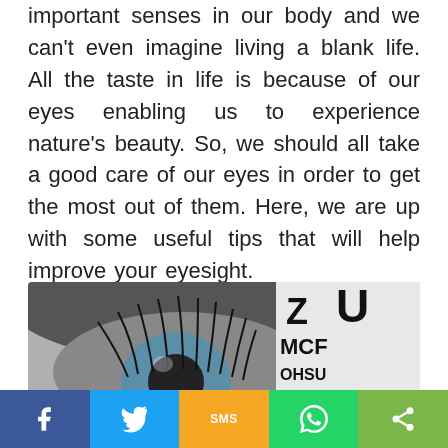important senses in our body and we can't even imagine living a blank life. All the taste in life is because of our eyes enabling us to experience nature's beauty. So, we should all take a good care of our eyes in order to get the most out of them. Here, we are up with some useful tips that will help improve your eyesight.
[Figure (photo): Close-up of a human eye with blue iris and eyelashes, alongside an eye chart showing letters Z, U, M, C, F, O, H, S, U in black and white]
Social share bar with Facebook, Twitter, SMS, WhatsApp, and Share buttons